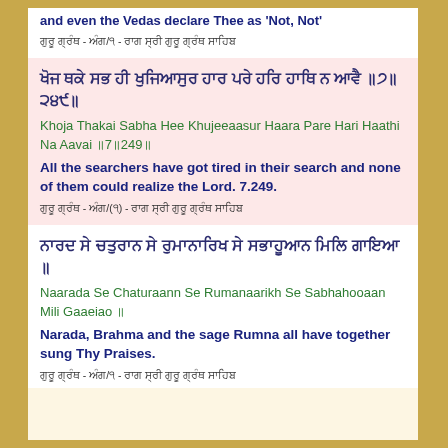and even the Vedas declare Thee as 'Not, Not'
ਗੁਰੂ ਗ੍ਰੰਥ - ਅੰਗ/੧ - ਰਾਗ ਸ੍ਰੀ ਗੁਰੂ ਗ੍ਰੰਥ ਸਾਹਿਬ
ਖੋਜ ਥਕੇ ਸਭ ਹੀ ਖੁਜਿਆਸੁਰ ਹਾਰ ਪਰੇ ਹਰਿ ਹਾਥਿ ਨ ਆਵੈ ॥੭॥੨੪੯॥
Khoja Thakai Sabha Hee Khujeeaasur Haara Pare Hari Haathi Na Aavai ॥7॥249॥
All the searchers have got tired in their search and none of them could realize the Lord. 7.249.
ਗੁਰੂ ਗ੍ਰੰਥ - ਅੰਗ/(੧) - ਰਾਗ ਸ੍ਰੀ ਗੁਰੂ ਗ੍ਰੰਥ ਸਾਹਿਬ
ਨਾਰਦ ਸੇ ਚਤੁਰਾਨ ਸੇ ਰੁਮਾਨਾਰਿਖ ਸੇ ਸਭਾਹੂਆਨ ਮਿਲਿ ਗਾਇਆ ॥
Naarada Se Chaturaann Se Rumanaarikh Se Sabhahooaan Mili Gaaeiao ॥
Narada, Brahma and the sage Rumna all have together sung Thy Praises.
ਗੁਰੂ ਗ੍ਰੰਥ - ਅੰਗ/੧ - ਰਾਗ ਸ੍ਰੀ ਗੁਰੂ ਗ੍ਰੰਥ ਸਾਹਿਬ